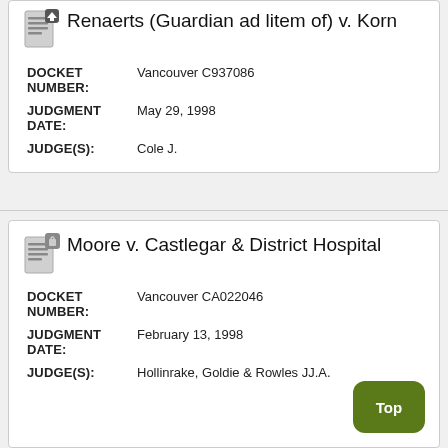Renaerts (Guardian ad litem of) v. Korn
DOCKET NUMBER: Vancouver C937086
JUDGMENT DATE: May 29, 1998
JUDGE(S): Cole J.
Moore v. Castlegar & District Hospital
DOCKET NUMBER: Vancouver CA022046
JUDGMENT DATE: February 13, 1998
JUDGE(S): Hollinrake, Goldie & Rowles JJ.A.